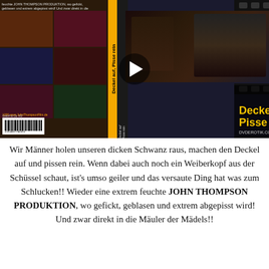[Figure (photo): DVD cover for adult film 'Deckel auf, Pisse rein' — a John Thompson Produktion. Left half shows a grid of explicit scenes; right half shows a main scene with film strip borders and yellow title text overlay. A play button overlay is centered on the image.]
Wir Männer holen unseren dicken Schwanz raus, machen den Deckel auf und pissen rein. Wenn dabei auch noch ein Weiberkopf aus der Schüssel schaut, ist's umso geiler und das versaute Ding hat was zum Schlucken!! Wieder eine extrem feuchte JOHN THOMPSON PRODUKTION, wo gefickt, geblasen und extrem abgepisst wird! Und zwar direkt in die Mäuler der Mädels!!